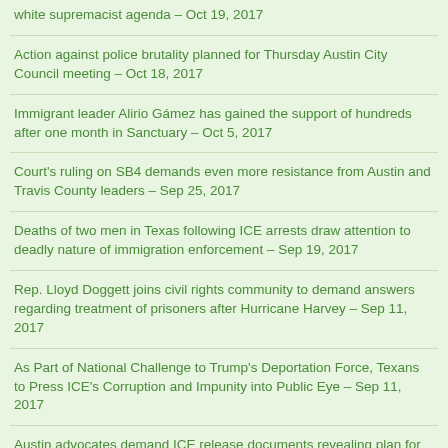white supremacist agenda – Oct 19, 2017
Action against police brutality planned for Thursday Austin City Council meeting – Oct 18, 2017
Immigrant leader Alirio Gámez has gained the support of hundreds after one month in Sanctuary – Oct 5, 2017
Court's ruling on SB4 demands even more resistance from Austin and Travis County leaders – Sep 25, 2017
Deaths of two men in Texas following ICE arrests draw attention to deadly nature of immigration enforcement – Sep 19, 2017
Rep. Lloyd Doggett joins civil rights community to demand answers regarding treatment of prisoners after Hurricane Harvey – Sep 11, 2017
As Part of National Challenge to Trump's Deportation Force, Texans to Press ICE's Corruption and Impunity into Public Eye – Sep 11, 2017
Austin advocates demand ICE release documents revealing plan for massive raids – Sep 8, 2017
Austin Sanctuary Network and Alirio Gámez vow to fight until Gámez's deportation is stopped – Sep 5, 2017